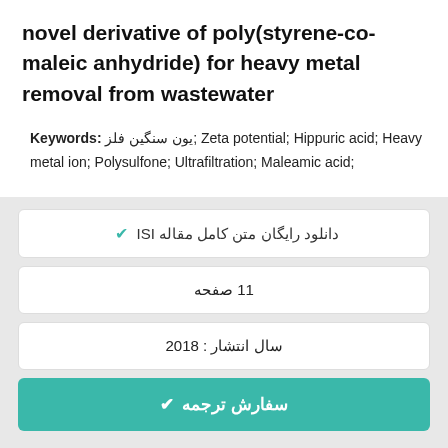novel derivative of poly(styrene-co-maleic anhydride) for heavy metal removal from wastewater
Keywords: یون سنگین فلز; Zeta potential; Hippuric acid; Heavy metal ion; Polysulfone; Ultrafiltration; Maleamic acid;
✔ دانلود رایگان متن کامل مقاله ISI
11 صفحه
سال انتشار : 2018
✔ سفارش ترجمه